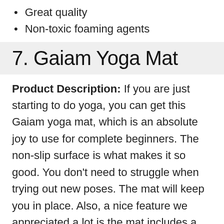Great quality
Non-toxic foaming agents
7. Gaiam Yoga Mat
Product Description: If you are just starting to do yoga, you can get this Gaiam yoga mat, which is an absolute joy to use for complete beginners. The non-slip surface is what makes it so good. You don't need to struggle when trying out new poses. The mat will keep you in place. Also, a nice feature we appreciated a lot is the mat includes a free yoga class as downloadable content.
Design and Quality: We love the design of